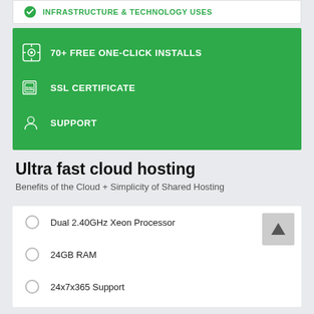INFRASTRUCTURE & TECHNOLOGY USES
70+ FREE ONE-CLICK INSTALLS
SSL CERTIFICATE
SUPPORT
Ultra fast cloud hosting
Benefits of the Cloud + Simplicity of Shared Hosting
Dual 2.40GHz Xeon Processor
24GB RAM
24x7x365 Support